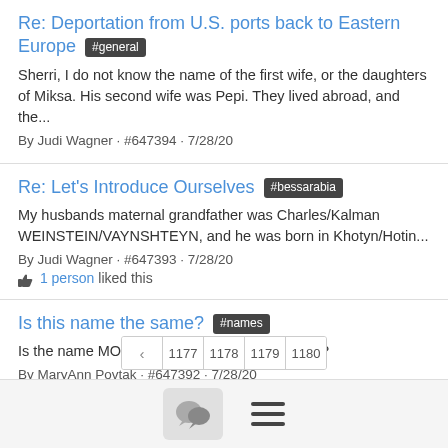Re: Deportation from U.S. ports back to Eastern Europe #general
Sherri, I do not know the name of the first wife, or the daughters of Miksa. His second wife was Pepi. They lived abroad, and the...
By Judi Wagner · #647394 · 7/28/20
Re: Let's Introduce Ourselves #bessarabia
My husbands maternal grandfather was Charles/Kalman WEINSTEIN/VAYNSHTEYN, and he was born in Khotyn/Hotin...
By Judi Wagner · #647393 · 7/28/20
1 person liked this
Is this name the same? #names
Is the name MOVSHA another name for Moses?
By MaryAnn Povtak · #647392 · 7/28/20